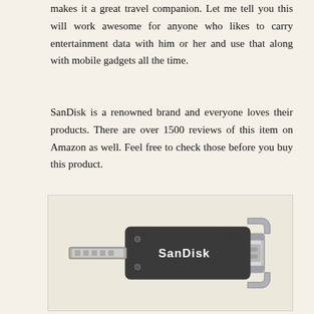makes it a great travel companion. Let me tell you this will work awesome for anyone who likes to carry entertainment data with him or her and use that along with mobile gadgets all the time.
SanDisk is a renowned brand and everyone loves their products. There are over 1500 reviews of this item on Amazon as well. Feel free to check those before you buy this product.
[Figure (photo): A SanDisk dual USB flash drive with a micro-USB connector on one end and a standard USB connector on the other, shown against a light background.]